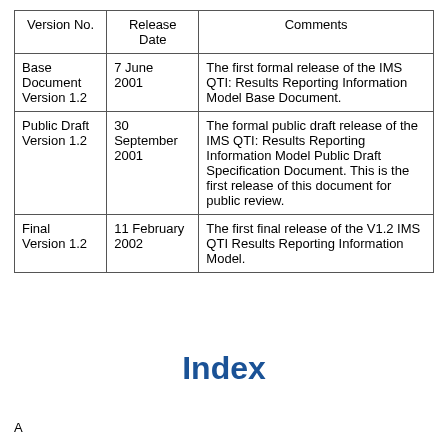| Version No. | Release Date | Comments |
| --- | --- | --- |
| Base Document Version 1.2 | 7 June 2001 | The first formal release of the IMS QTI: Results Reporting Information Model Base Document. |
| Public Draft Version 1.2 | 30 September 2001 | The formal public draft release of the IMS QTI: Results Reporting Information Model Public Draft Specification Document. This is the first release of this document for public review. |
| Final Version 1.2 | 11 February 2002 | The first final release of the V1.2 IMS QTI Results Reporting Information Model. |
Index
A